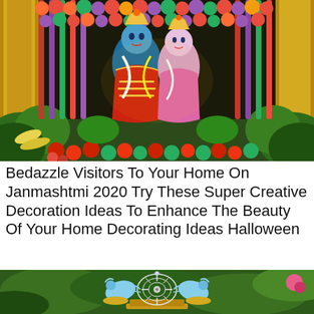[Figure (photo): Colorful Hindu deity (Krishna and Radha) idols decorated with garlands of fruits, vegetables, and flowers in vibrant festival display for Janmashtmi]
Bedazzle Visitors To Your Home On Janmashtmi 2020 Try These Super Creative Decoration Ideas To Enhance The Beauty Of Your Home Decorating Ideas Halloween
[Figure (photo): Ornate decorative crown or mukut with peacock design in white and gold, set against green foliage background, used for Hindu deity decoration]